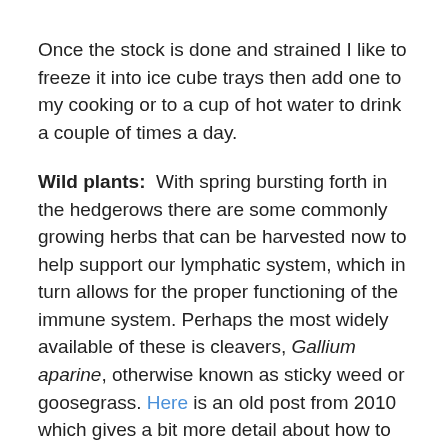Once the stock is done and strained I like to freeze it into ice cube trays then add one to my cooking or to a cup of hot water to drink a couple of times a day.
Wild plants:  With spring bursting forth in the hedgerows there are some commonly growing herbs that can be harvested now to help support our lymphatic system, which in turn allows for the proper functioning of the immune system. Perhaps the most widely available of these is cleavers, Gallium aparine, otherwise known as sticky weed or goosegrass. Here is an old post from 2010 which gives a bit more detail about how to use this herb. Wild garlic is also growing plentifully at the moment and is a wonderful plant with anti-microbial properties which also moves circulation and thins mucus. Though not so specific for the immune system, wild